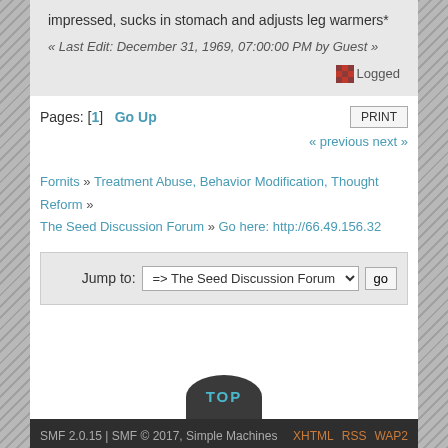impressed, sucks in stomach and adjusts leg warmers*
« Last Edit: December 31, 1969, 07:00:00 PM by Guest »
Logged
Pages: [1]   Go Up
« previous next »
Fornits » Treatment Abuse, Behavior Modification, Thought Reform » The Seed Discussion Forum » Go here: http://66.49.156.32
Jump to: => The Seed Discussion Forum   go
SMF 2.0.15 | SMF © 2017, Simple Machines   XHTML RSS WAP2